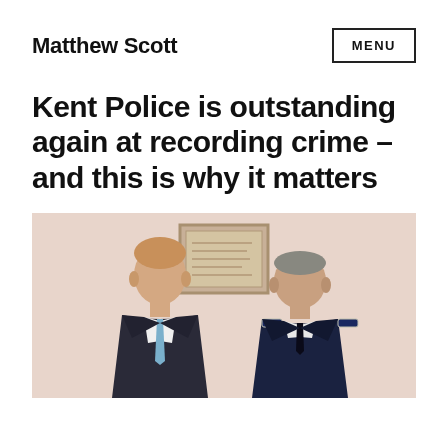Matthew Scott
Kent Police is outstanding again at recording crime – and this is why it matters
[Figure (photo): Two men standing side by side in front of a framed picture on a wall. The man on the left is wearing a dark suit with a light blue tie. The man on the right is wearing a police uniform with epaulettes.]